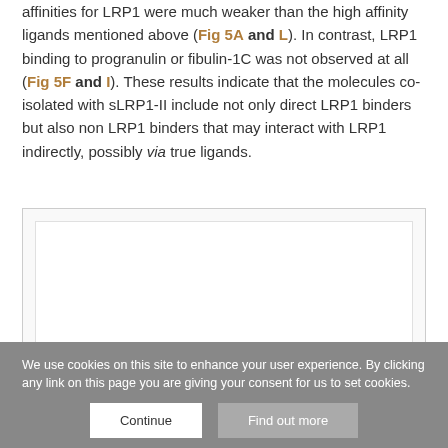affinities for LRP1 were much weaker than the high affinity ligands mentioned above (Fig 5A and L). In contrast, LRP1 binding to progranulin or fibulin-1C was not observed at all (Fig 5F and I). These results indicate that the molecules co-isolated with sLRP1-II include not only direct LRP1 binders but also non LRP1 binders that may interact with LRP1 indirectly, possibly via true ligands.
[Figure (other): Blank figure placeholder box (figure content not visible due to page crop)]
We use cookies on this site to enhance your user experience. By clicking any link on this page you are giving your consent for us to set cookies.